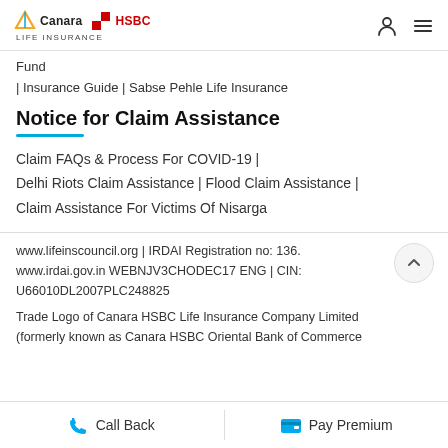Canara HSBC Life Insurance
Fund | Insurance Guide | Sabse Pehle Life Insurance
Notice for Claim Assistance
Claim FAQs & Process For COVID-19 | Delhi Riots Claim Assistance | Flood Claim Assistance | Claim Assistance For Victims Of Nisarga
www.lifeinscouncil.org | IRDAI Registration no: 136. www.irdai.gov.in WEBNJV3CHODEC17 ENG | CIN: U66010DL2007PLC248825
Trade Logo of Canara HSBC Life Insurance Company Limited (formerly known as Canara HSBC Oriental Bank of Commerce
Call Back | Pay Premium